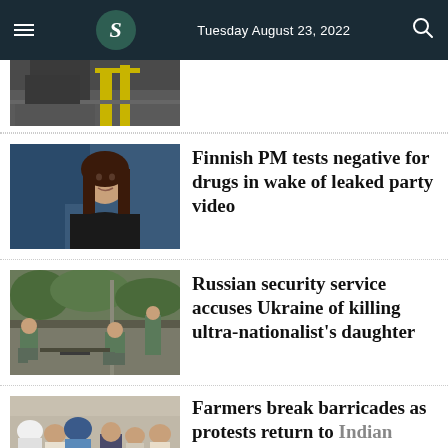Tuesday August 23, 2022
[Figure (photo): Partial photo of industrial/port machinery, top of page, cropped]
[Figure (photo): Portrait of Finnish Prime Minister Sanna Marin against blue background]
Finnish PM tests negative for drugs in wake of leaked party video
[Figure (photo): Russian security investigators in green uniforms crouching to examine road scene]
Russian security service accuses Ukraine of killing ultra-nationalist's daughter
[Figure (photo): Farmers in white and colorful clothing at protest, police visible]
Farmers break barricades as protests return to Indian capital